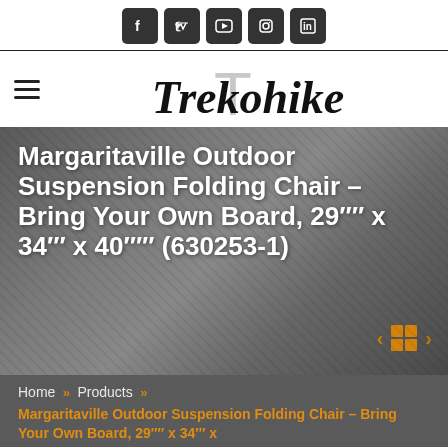[Figure (other): Social media icon bar with Facebook, Twitter, YouTube, Instagram, LinkedIn icons in dark rounded square buttons]
[Figure (logo): Trekohike logo in script font with large grey T lettermark behind it]
Margaritaville Outdoor Suspension Folding Chair – Bring Your Own Board, 29"" x 34"" x 40""" (630253-1)
Home » Products »
Margaritaville Outdoor Suspension Folding Chair – Bring Your Own Board, 29"" x 34"" x